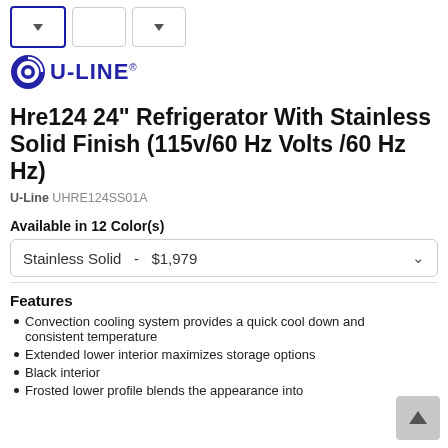[Figure (logo): U-Line brand logo with circular icon and text U-LINE]
Hre124 24" Refrigerator With Stainless Solid Finish (115v/60 Hz Volts /60 Hz Hz)
U-Line UHRE124SS01A
Available in 12 Color(s)
Stainless Solid  -  $1,979
Features
Convection cooling system provides a quick cool down and consistent temperature
Extended lower interior maximizes storage options
Black interior
Frosted lower profile blends the appearance into...